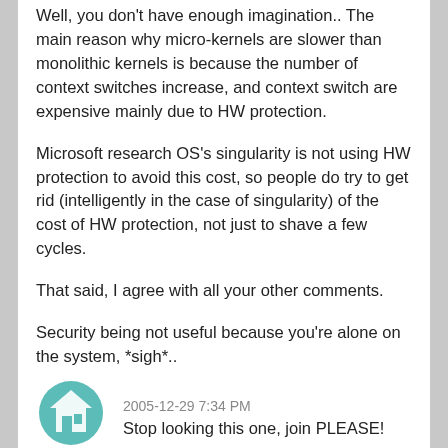Well, you don't have enough imagination.. The main reason why micro-kernels are slower than monolithic kernels is because the number of context switches increase, and context switch are expensive mainly due to HW protection.
Microsoft research OS's singularity is not using HW protection to avoid this cost, so people do try to get rid (intelligently in the case of singularity) of the cost of HW protection, not just to shave a few cycles.
That said, I agree with all your other comments.
Security being not useful because you're alone on the system, *sigh*..
2005-12-29 7:34 PM
Stop looking this one, join PLEASE!